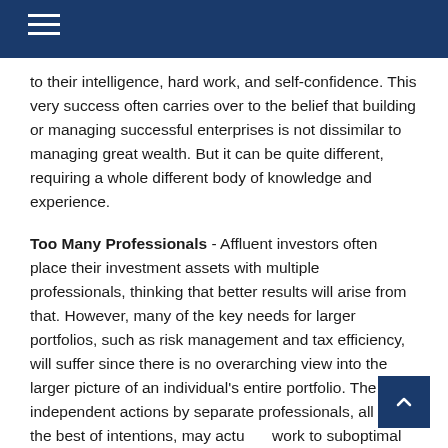to their intelligence, hard work, and self-confidence. This very success often carries over to the belief that building or managing successful enterprises is not dissimilar to managing great wealth. But it can be quite different, requiring a whole different body of knowledge and experience.
Too Many Professionals - Affluent investors often place their investment assets with multiple professionals, thinking that better results will arise from that. However, many of the key needs for larger portfolios, such as risk management and tax efficiency, will suffer since there is no overarching view into the larger picture of an individual's entire portfolio. The independent actions by separate professionals, all with the best of intentions, may actually work to suboptimal outcomes.